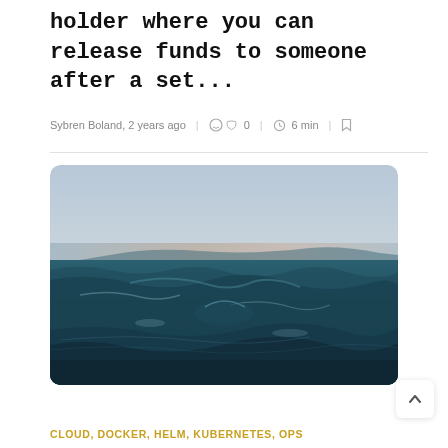holder where you can release funds to someone after a set...
Sybren Boland, 2 years ago | 0 | 6 min |
[Figure (photo): Close-up photograph of ocean waves with a pale sky at dusk or dawn, teal-blue water with rippling waves in the foreground]
CLOUD, DOCKER, HELM, KUBERNETES, OPS